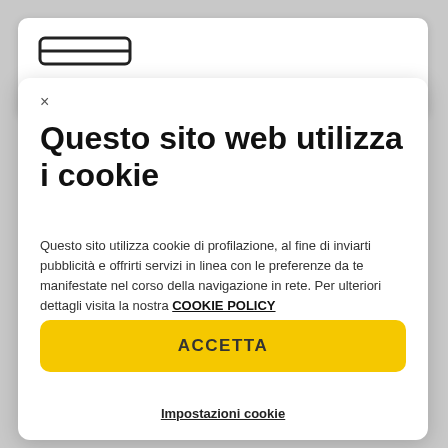[Figure (screenshot): Browser tab bar partially visible at top]
Questo sito web utilizza i cookie
Questo sito utilizza cookie di profilazione, al fine di inviarti pubblicità e offrirti servizi in linea con le preferenze da te manifestate nel corso della navigazione in rete. Per ulteriori dettagli visita la nostra COOKIE POLICY
ACCETTA
Impostazioni cookie